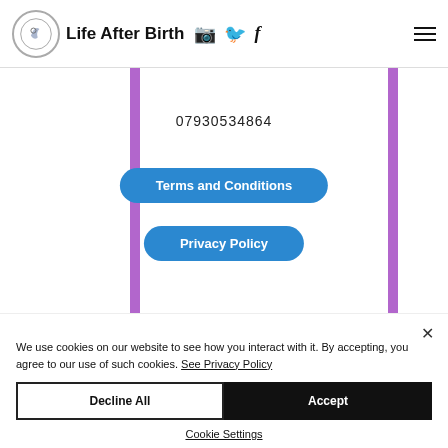Life After Birth
07930534864
Terms and Conditions
Privacy Policy
[Figure (logo): Verified Member badge with bird/wings logo]
[Figure (logo): ANLP The Association for NLP professional circular badge]
We use cookies on our website to see how you interact with it. By accepting, you agree to our use of such cookies. See Privacy Policy
Decline All
Accept
Cookie Settings